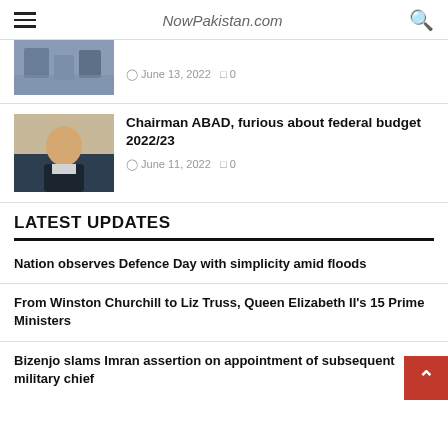NowPakistan.com
[Figure (photo): Partial news article image showing people in a meeting room, partially cropped at top]
June 13, 2022  0
[Figure (photo): Photo of a man in a dark suit sitting at a desk, identified as Chairman ABAD]
Chairman ABAD, furious about federal budget 2022/23
June 11, 2022  0
LATEST UPDATES
Nation observes Defence Day with simplicity amid floods
From Winston Churchill to Liz Truss, Queen Elizabeth II's 15 Prime Ministers
Bizenjo slams Imran assertion on appointment of subsequent military chief